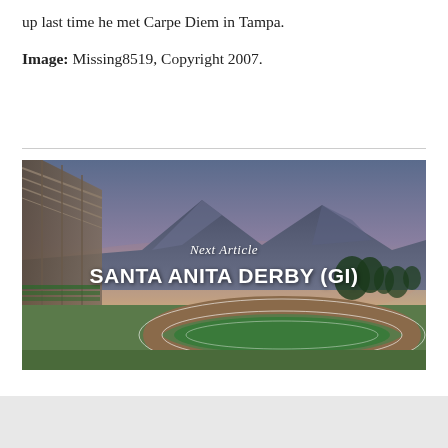up last time he met Carpe Diem in Tampa.
Image: Missing8519, Copyright 2007.
[Figure (photo): Aerial view of Santa Anita Park racetrack at dusk with mountains in background, grandstand visible on left, green turf course and dirt track visible, overlay text reads 'Next Article' and 'SANTA ANITA DERBY (GI)']